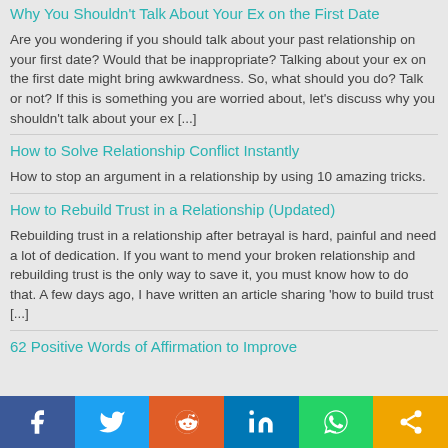Why You Shouldn't Talk About Your Ex on the First Date
Are you wondering if you should talk about your past relationship on your first date? Would that be inappropriate? Talking about your ex on the first date might bring awkwardness. So, what should you do? Talk or not? If this is something you are worried about, let's discuss why you shouldn't talk about your ex [...]
How to Solve Relationship Conflict Instantly
How to stop an argument in a relationship by using 10 amazing tricks.
How to Rebuild Trust in a Relationship (Updated)
Rebuilding trust in a relationship after betrayal is hard, painful and need a lot of dedication. If you want to mend your broken relationship and rebuilding trust is the only way to save it, you must know how to do that. A few days ago, I have written an article sharing 'how to build trust [...]
62 Positive Words of Affirmation to Improve